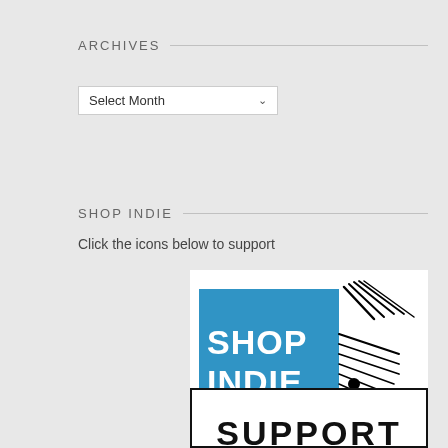ARCHIVES
Select Month
SHOP INDIE
Click the icons below to support
[Figure (logo): Shop Indie Bookstores logo with blue background, white text reading SHOP INDIE and black text reading BOOKSTORES, with a hand-drawn book illustration]
[Figure (logo): Support logo partially visible, black stamp-style text reading SUPPORT on white background with black border]